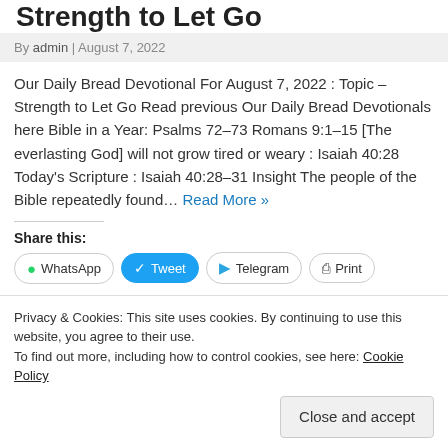Strength to Let Go
By admin | August 7, 2022
Our Daily Bread Devotional For August 7, 2022 : Topic – Strength to Let Go Read previous Our Daily Bread Devotionals here Bible in a Year: Psalms 72–73 Romans 9:1–15 [The everlasting God] will not grow tired or weary : Isaiah 40:28 Today's Scripture : Isaiah 40:28–31 Insight The people of the Bible repeatedly found… Read More »
Share this:
WhatsApp  Tweet  Telegram  Print
Privacy & Cookies: This site uses cookies. By continuing to use this website, you agree to their use.
To find out more, including how to control cookies, see here: Cookie Policy